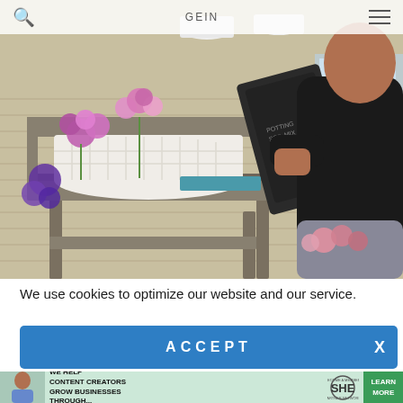Search | GEIN | Menu
[Figure (photo): A person in a black hoodie and grey sweatpants pouring soil from a dark bag onto a grey wooden potting bench/table. On the table is a white wicker basket filled with pink and purple flowers. The bench is set against a house exterior with yellow siding. Additional pink flowers are visible on the lower shelf of the bench.]
We use cookies to optimize our website and our service.
ACCEPT
[Figure (infographic): Advertisement banner: 'WE HELP CONTENT CREATORS GROW BUSINESSES THROUGH...' with SHE Media Partner Network logo and a 'LEARN MORE / BECOME A MEMBER' green CTA button. Shows a woman holding a tablet on the left.]